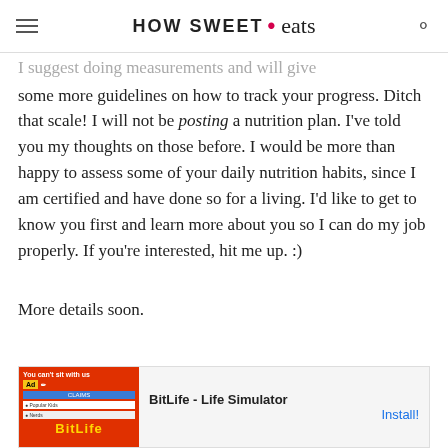HOW SWEET • eats
I suggest doing measurements and will give some more guidelines on how to track your progress. Ditch that scale! I will not be posting a nutrition plan. I've told you my thoughts on those before. I would be more than happy to assess some of your daily nutrition habits, since I am certified and have done so for a living. I'd like to get to know you first and learn more about you so I can do my job properly. If you're interested, hit me up. :)
More details soon.
[Figure (screenshot): Advertisement banner for BitLife - Life Simulator app with red background image and install button]